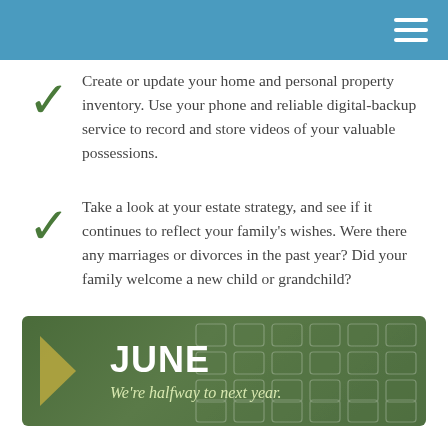Create or update your home and personal property inventory. Use your phone and reliable digital-backup service to record and store videos of your valuable possessions.
Take a look at your estate strategy, and see if it continues to reflect your family's wishes. Were there any marriages or divorces in the past year? Did your family welcome a new child or grandchild?
[Figure (infographic): Green banner with arrow pointing right, large bold JUNE text, italic subtitle 'We're halfway to next year.' with decorative calendar grid pattern on the right side.]